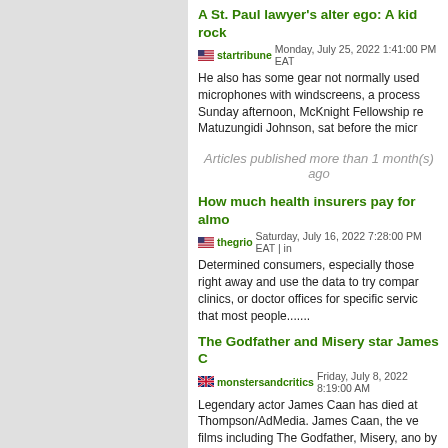A St. Paul lawyer's alter ego: A kid rock
startribune Monday, July 25, 2022 1:41:00 PM EAT
He also has some gear not normally used microphones with windscreens, a process Sunday afternoon, McKnight Fellowship re Matuzungidi Johnson, sat before the micr
Articles published more than 1 month(s) ago
How much health insurers pay for almo
thegrio Saturday, July 16, 2022 7:28:00 PM EAT | in
Determined consumers, especially those right away and use the data to try compar clinics, or doctor offices for specific servic that most people.......
The Godfather and Misery star James C
monstersandcritics Friday, July 8, 2022 8:19:00 AM
Legendary actor James Caan has died at Thompson/AdMedia. James Caan, the ve films including The Godfather, Misery, ano by a family statement leading.......
'ER' ACTRESS DIGS HER CHARACTER
orlandosentinel Tuesday, July 5, 2022 10:24:00 AM
ER's Laura Innes is psyched to be a lesbi